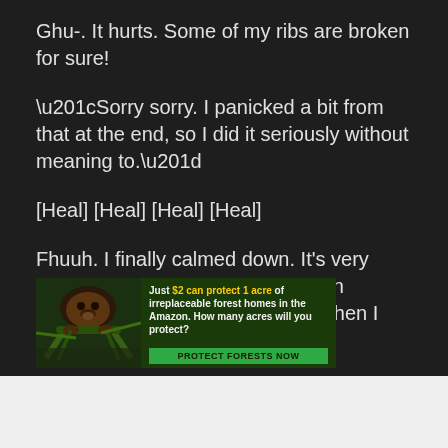Ghu-. It hurts. Some of my ribs are broken for sure!
“Sorry sorry. I panicked a bit from that at the end, so I did it seriously without meaning to.”
[Heal] [Heal] [Heal] [Heal]
Fhuuh. I finally calmed down. It’s very fortunate that it was with a wooden sword…… If it was a real sword, then I would have been split in two.
[Figure (other): Advertisement banner for Amazon forest protection. Shows a sloth on a branch with text: Just $2 can protect 1 acre of irreplaceable forest homes in the Amazon. How many acres will you protect? Button: PROTECT FORESTS NOW]